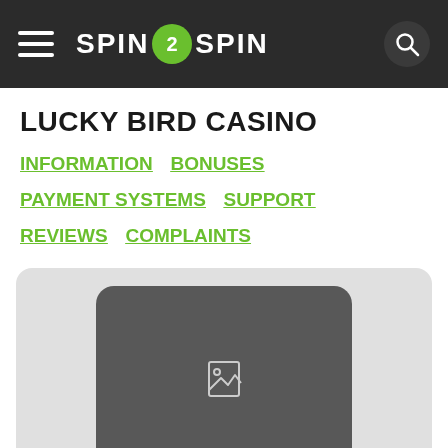SPIN2SPIN
LUCKY BIRD CASINO
INFORMATION
BONUSES
PAYMENT SYSTEMS
SUPPORT
REVIEWS
COMPLAINTS
[Figure (photo): Lucky Bird Casino logo placeholder image — dark grey rounded rectangle with a broken image icon in the center]
Rating: